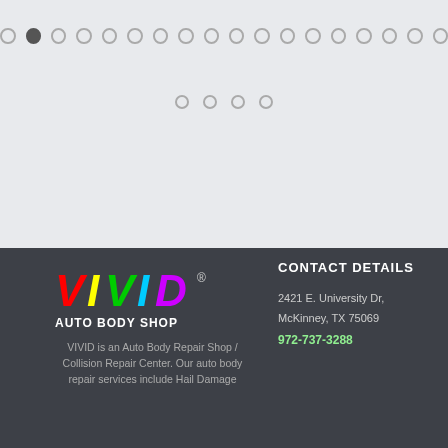[Figure (screenshot): Light gray background area with two rows of pagination dots. Top row has 18 circles (second filled/dark). Second row has 4 smaller circles.]
[Figure (logo): VIVID Auto Body Shop logo with colorful VIVID text (red, yellow, green, cyan, blue, purple letters) and white AUTO BODY SHOP text below.]
VIVID is an Auto Body Repair Shop / Collision Repair Center. Our auto body repair services include Hail Damage
CONTACT DETAILS
2421 E. University Dr, McKinney, TX 75069
972-737-3288